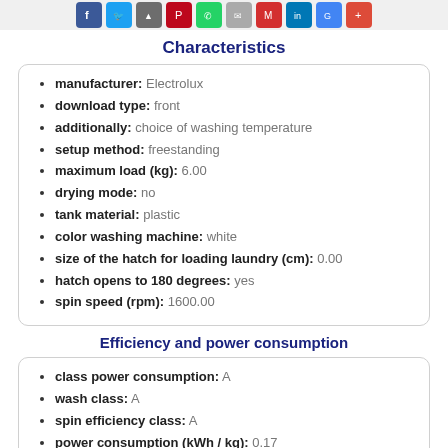[Figure (other): Social media sharing icons bar: Facebook, Twitter, Google+, Pinterest, WhatsApp, unknown, Mail, LinkedIn, Google, Google+]
Characteristics
manufacturer: Electrolux
download type: front
additionally: choice of washing temperature
setup method: freestanding
maximum load (kg): 6.00
drying mode: no
tank material: plastic
color washing machine: white
size of the hatch for loading laundry (cm): 0.00
hatch opens to 180 degrees: yes
spin speed (rpm): 1600.00
Efficiency and power consumption
class power consumption: A
wash class: A
spin efficiency class: A
power consumption (kWh / kg): 0.17
Sizes